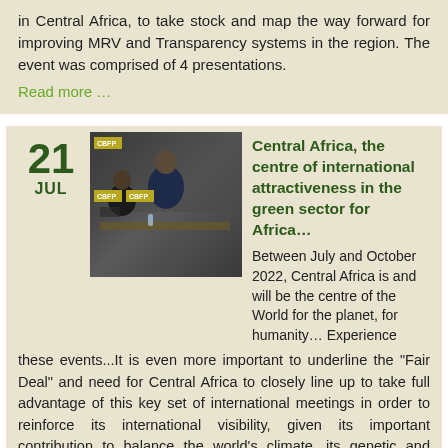in Central Africa, to take stock and map the way forward for improving MRV and Transparency systems in the region. The event was comprised of 4 presentations.
Read more …
21 JUL
[Figure (photo): Conference photo with CBFP branding, showing people seated at a panel discussion in a meeting room]
Central Africa, the centre of international attractiveness in the green sector for Africa…
Between July and October 2022, Central Africa is and will be the centre of the World for the planet, for humanity… Experience these events...It is even more important to underline the "Fair Deal" and need for Central Africa to closely line up to take full advantage of this key set of international meetings in order to reinforce its international visibility, given its important contribution to balance the world's climate, its genetic and biological world bank, and its socio-cultural heritage.